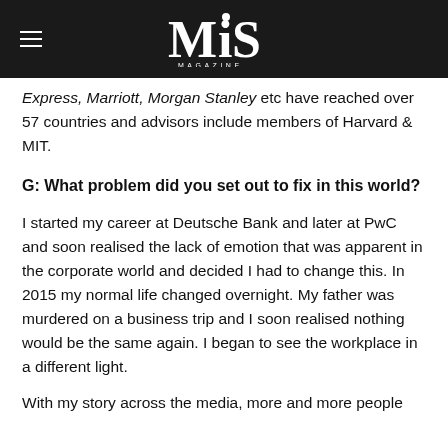MiS MAGAZINE
Express, Marriott, Morgan Stanley etc have reached over 57 countries and advisors include members of Harvard & MIT.
G: What problem did you set out to fix in this world?
I started my career at Deutsche Bank and later at PwC and soon realised the lack of emotion that was apparent in the corporate world and decided I had to change this. In 2015 my normal life changed overnight. My father was murdered on a business trip and I soon realised nothing would be the same again. I began to see the workplace in a different light.
With my story across the media, more and more people